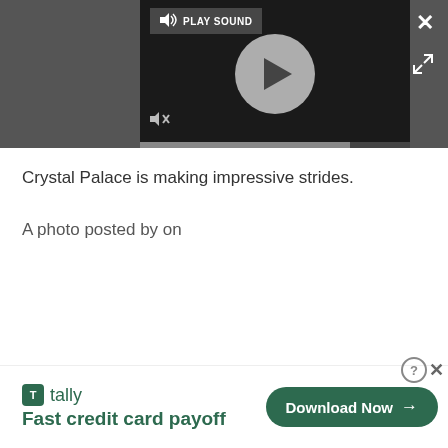[Figure (screenshot): Video player with play button circle, PLAY SOUND button, mute icon, progress bar, close X button, and expand icon on dark background overlay]
Crystal Palace is making impressive strides.
A photo posted by on
[Figure (screenshot): Tally advertisement banner: Tally logo, 'Fast credit card payoff' tagline, Download Now button, close/question buttons]